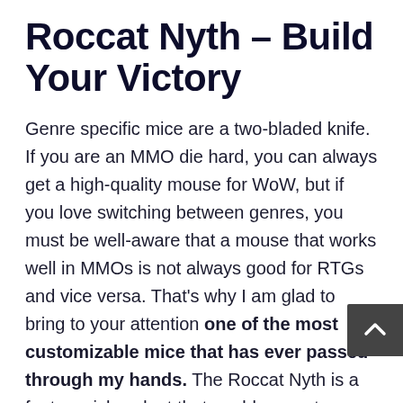Roccat Nyth – Build Your Victory
Genre specific mice are a two-bladed knife. If you are an MMO die hard, you can always get a high-quality mouse for WoW, but if you love switching between genres, you must be well-aware that a mouse that works well in MMOs is not always good for RTGs and vice versa. That's why I am glad to bring to your attention one of the most customizable mice that has ever passed through my hands. The Roccat Nyth is a feature-rich rodent that enables you to